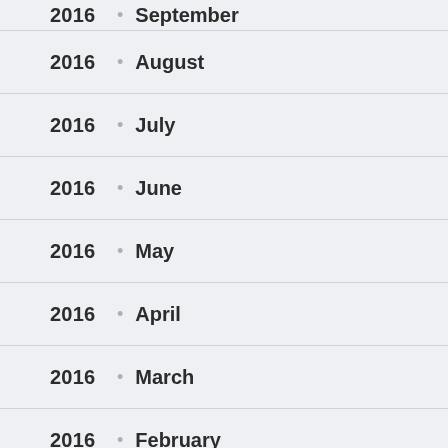2016 • September
2016 • August
2016 • July
2016 • June
2016 • May
2016 • April
2016 • March
2016 • February